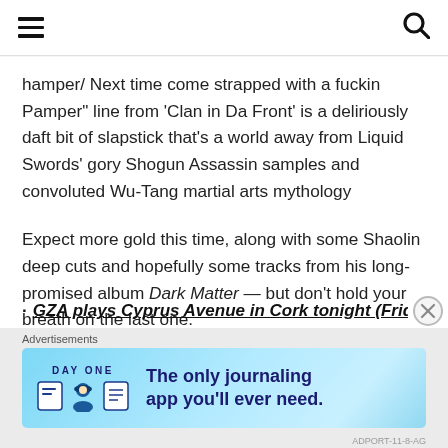[hamburger menu icon] [search icon]
hamper/ Next time come strapped with a fuckin Pamper" line from 'Clan in Da Front' is a deliriously daft bit of slapstick that's a world away from Liquid Swords' gory Shogun Assassin samples and convoluted Wu-Tang martial arts mythology
Expect more gold this time, along with some Shaolin deep cuts and hopefully some tracks from his long-promised album Dark Matter — but don't hold your breath on the last one.
GZA plays Cyprus Avenue in Cork tonight (Friday)
Advertisements
[Figure (other): Day One journaling app advertisement banner with blue gradient background, app logo icons, and tagline 'The only journaling app you'll ever need.']